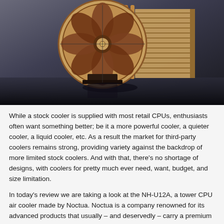[Figure (photo): A Noctua NH-U12A tower CPU air cooler with tan/brown fans and copper heat pipes, photographed on a reflective dark surface against a dark grey background.]
While a stock cooler is supplied with most retail CPUs, enthusiasts often want something better; be it a more powerful cooler, a quieter cooler, a liquid cooler, etc. As a result the market for third-party coolers remains strong, providing variety against the backdrop of more limited stock coolers. And with that, there's no shortage of designs, with coolers for pretty much ever need, want, budget, and size limitation.
In today's review we are taking a look at the NH-U12A, a tower CPU air cooler made by Noctua. Noctua is a company renowned for its advanced products that usually – and deservedly – carry a premium price tag. The NH-U12A is the latest version of their family of 120 mm-based single-tower CPU coolers, which are